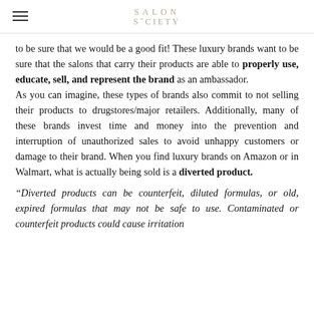SALON SOCIETY
to be sure that we would be a good fit! These luxury brands want to be sure that the salons that carry their products are able to properly use, educate, sell, and represent the brand as an ambassador.
As you can imagine, these types of brands also commit to not selling their products to drugstores/major retailers. Additionally, many of these brands invest time and money into the prevention and interruption of unauthorized sales to avoid unhappy customers or damage to their brand. When you find luxury brands on Amazon or in Walmart, what is actually being sold is a diverted product.
“Diverted products can be counterfeit, diluted formulas, or old, expired formulas that may not be safe to use. Contaminated or counterfeit products could cause irritation